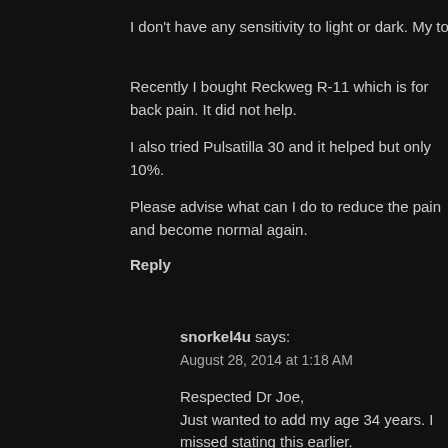I don't have any sensitivity to light or dark. My tongue is normal in color, pinkish wh
Recently I bought Reckweg R-11 which is for back pain. It did not help.
I also tried Pulsatilla 30 and it helped but only 10%.
Please advise what can I do to reduce the pain and become normal again.
Reply
snorkel4u says:
August 28, 2014 at 1:18 AM
Respected Dr Joe,
Just wanted to add my age 34 years. I missed stating this earlier.

Thanks
Vinay
Reply
Joe says:
August 28, 2014 at 6:59 AM
Your case is very complicated because of your TB of the Spine and I would p refer your case to Dr Prasanta Banerji at
PRASANTA BANERJI HOMEOPATHIC RESEARCH FOUNDATION
http://www.pbhrfindia.org/
Reply